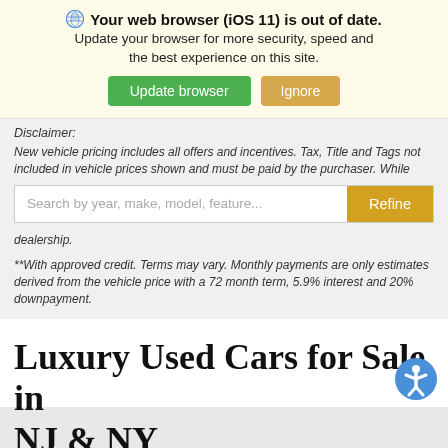Your web browser (iOS 11) is out of date. Update your browser for more security, speed and the best experience on this site.
Update browser | Ignore
Disclaimer:
New vehicle pricing includes all offers and incentives. Tax, Title and Tags not included in vehicle prices shown and must be paid by the purchaser. While
Search by year, make, model, feature...
dealership.
**With approved credit. Terms may vary. Monthly payments are only estimates derived from the vehicle price with a 72 month term, 5.9% interest and 20% downpayment.
Luxury Used Cars for Sale in NJ & NY